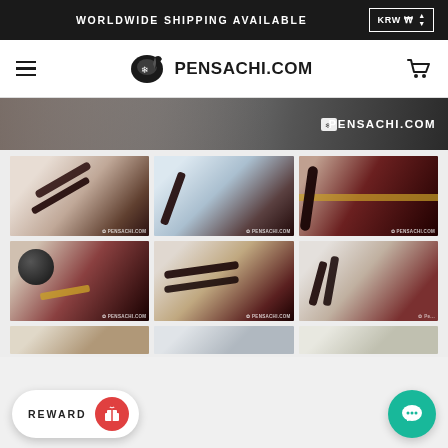WORLDWIDE SHIPPING AVAILABLE   KRW ₩
[Figure (logo): Pensachi.com logo with scroll/pen icon and site name PENSACHI.COM]
[Figure (photo): Hero banner showing marble background with decorative items, PENSACHI.COM watermark]
[Figure (photo): Grid of 6 product photos showing dark-red/maroon luxury pens with gold bands on marble backgrounds]
REWARD
[Figure (screenshot): Reward pill button with red icon and teal chat bubble button in bottom corners]